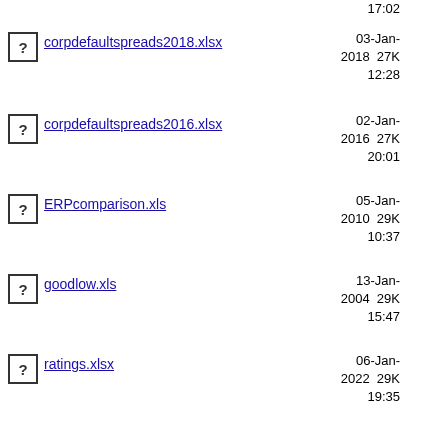17:02
corpdefaultspreads2018.xlsx  03-Jan-2018 27K 12:28
corpdefaultspreads2016.xlsx  02-Jan-2016 27K 20:01
ERPcomparison.xls  05-Jan-2010 29K 10:37
goodlow.xls  13-Jan-2004 29K 15:47
ratings.xlsx  06-Jan-2022 29K 19:35
VIXquarter.xls  21-Jun-2012 30K 16:00
corpdefaultspreads2021.xlsx  08-Jan-2021 30K 11:39
06-Jan-